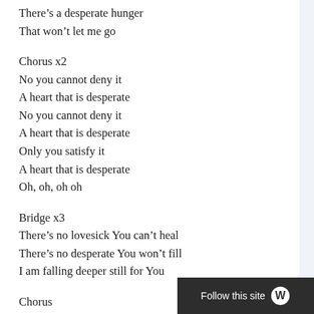There's a desperate hunger
That won't let me go

Chorus x2
No you cannot deny it
A heart that is desperate
No you cannot deny it
A heart that is desperate
Only you satisfy it
A heart that is desperate
Oh, oh, oh oh

Bridge x3
There's no lovesick You can't heal
There's no desperate You won't fill
I am falling deeper still for You

Chorus
Follow this site